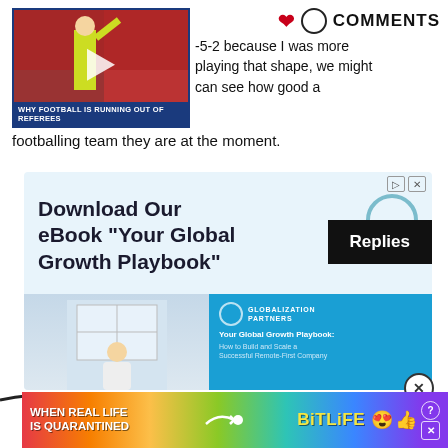[Figure (screenshot): Video thumbnail of a football referee raising hand, titled 'Why Football Is Running Out Of Referees']
COMMENTS
-5-2 because I was more playing that shape, we might can see how good a footballing team they are at the moment.
[Figure (screenshot): Advertisement for 'Download Our eBook Your Global Growth Playbook' by Globalization Partners with Replies button overlay]
[Figure (screenshot): Bottom banner advertisement for BitLife game: 'WHEN REAL LIFE IS QUARANTINED']